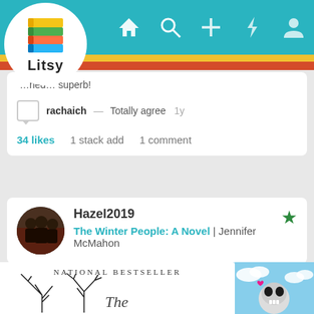[Figure (screenshot): Litsy app top navigation bar with teal background, logo circle, home icon, search icon, plus icon, activity icon, and profile icon]
…ned… superb!
rachaich — Totally agree  1y
34 likes   1 stack add   1 comment
Hazel2019
The Winter People: A Novel | Jennifer McMahon
[Figure (screenshot): Book cover showing 'NATIONAL BESTSELLER' text with bare tree branches, partial title 'The' visible, and a second image showing a skull with pink heart on blue sky background]